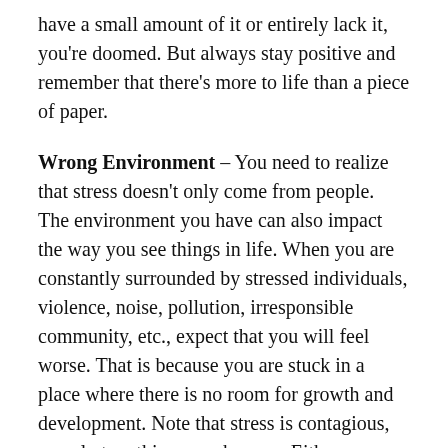have a small amount of it or entirely lack it, you're doomed. But always stay positive and remember that there's more to life than a piece of paper.
Wrong Environment – You need to realize that stress doesn't only come from people. The environment you have can also impact the way you see things in life. When you are constantly surrounded by stressed individuals, violence, noise, pollution, irresponsible community, etc., expect that you will feel worse. That is because you are stuck in a place where there is no room for growth and development. Note that stress is contagious, so only two things can happen. Either you break free from the negative environment or become one of them. So be careful with the kind of environment you engage yourself in.
Toxic People – Whether it is your family or close friends,